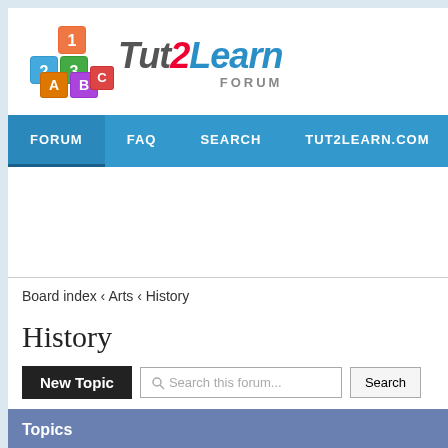[Figure (logo): Tut2Learn Forum logo with colorful alphabet/number blocks and stylized text]
FORUM   FAQ   SEARCH   TUT2LEARN.COM   BLOG   TUT
Board index ‹ Arts ‹ History
History
New Topic   Search this forum...   Search
Topics